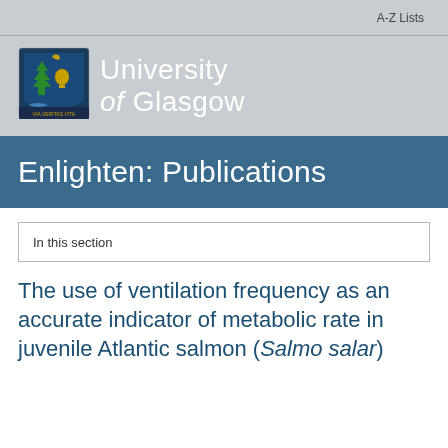A-Z Lists
[Figure (logo): University of Glasgow crest and wordmark logo on grey background]
Enlighten: Publications
In this section
The use of ventilation frequency as an accurate indicator of metabolic rate in juvenile Atlantic salmon (Salmo salar)